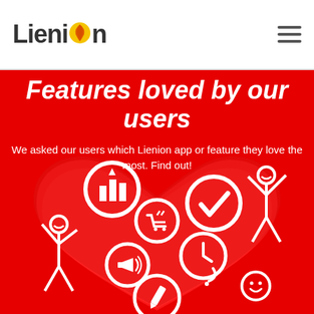LieniOn
Features loved by our users
We asked our users which Lienion app or feature they love the most. Find out!
[Figure (illustration): Red background illustration with a large heart shape containing circular icons (bar chart, checkmark, shopping cart, clock, megaphone, pencil) and stick figure people with raised arms on either side, plus a smiley face at bottom right.]